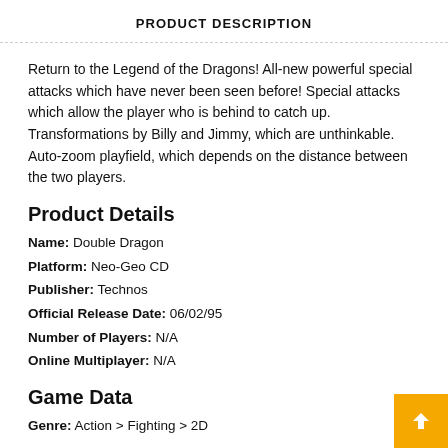PRODUCT DESCRIPTION
Return to the Legend of the Dragons! All-new powerful special attacks which have never been seen before! Special attacks which allow the player who is behind to catch up. Transformations by Billy and Jimmy, which are unthinkable. Auto-zoom playfield, which depends on the distance between the two players.
Product Details
Name: Double Dragon
Platform: Neo-Geo CD
Publisher: Technos
Official Release Date: 06/02/95
Number of Players: N/A
Online Multiplayer: N/A
Game Data
Genre: Action > Fighting > 2D